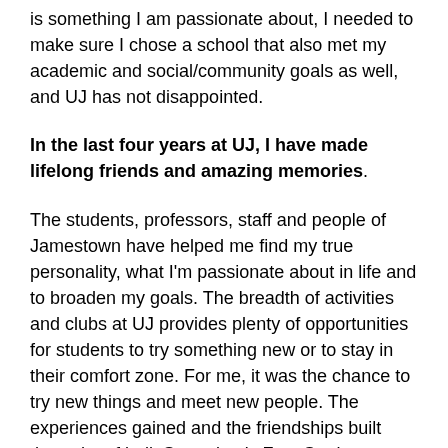is something I am passionate about, I needed to make sure I chose a school that also met my academic and social/community goals as well, and UJ has not disappointed.
In the last four years at UJ, I have made lifelong friends and amazing memories.
The students, professors, staff and people of Jamestown have helped me find my true personality, what I'm passionate about in life and to broaden my goals. The breadth of activities and clubs at UJ provides plenty of opportunities for students to try something new or to stay in their comfort zone. For me, it was the chance to try new things and meet new people. The experiences gained and the friendships built through softball, Samaritan's Feet Student Organization, the Wildlife Society, Physical Education Student